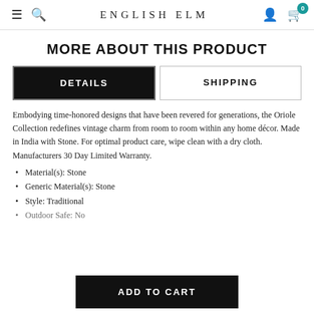ENGLISH ELM
MORE ABOUT THIS PRODUCT
DETAILS | SHIPPING
Embodying time-honored designs that have been revered for generations, the Oriole Collection redefines vintage charm from room to room within any home décor. Made in India with Stone. For optimal product care, wipe clean with a dry cloth. Manufacturers 30 Day Limited Warranty.
Material(s): Stone
Generic Material(s): Stone
Style: Traditional
Outdoor Safe: No